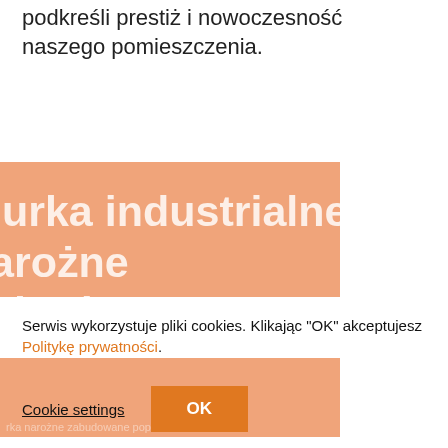podkreśli prestiż i nowoczesność naszego pomieszczenia.
[Figure (other): Orange promotional banner with large white bold text reading 'biurka industrialne narożne zabudowane' partially visible, with faint link text at bottom]
Serwis wykorzystuje pliki cookies. Klikając "OK" akceptujesz Politykę prywatności.
Cookie settings
OK